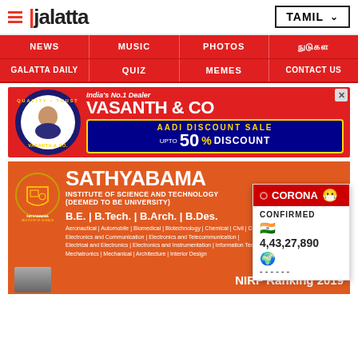Galatta — TAMIL
NEWS | MUSIC | PHOTOS | (Tamil text)
GALATTA DAILY | QUIZ | MEMES | CONTACT US
[Figure (advertisement): Vasanth & Co India's No.1 Dealer ad with AADI DISCOUNT SALE UPTO 50% DISCOUNT]
[Figure (advertisement): Sathyabama Institute of Science and Technology (Deemed to be University) ad showing B.E. | B.Tech. | B.Arch. | B.Des. courses with NIRF Ranking 2019]
[Figure (infographic): Corona Confirmed widget showing India flag with 4,43,27,890 cases and globe icon]